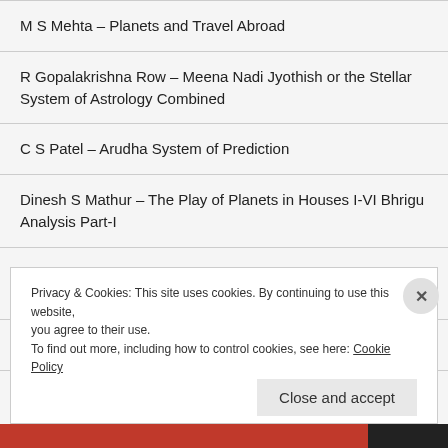M S Mehta – Planets and Travel Abroad
R Gopalakrishna Row – Meena Nadi Jyothish or the Stellar System of Astrology Combined
C S Patel – Arudha System of Prediction
Dinesh S Mathur – The Play of Planets in Houses I-VI Bhrigu Analysis Part-I
Seshadri Iyer – New Techniques of Prediction ( Rare Books Vol 1, 2 and 3 Combined)
Lal Kitab with Remedies by Beni Madhav Goswami
Privacy & Cookies: This site uses cookies. By continuing to use this website, you agree to their use.
To find out more, including how to control cookies, see here: Cookie Policy
Close and accept